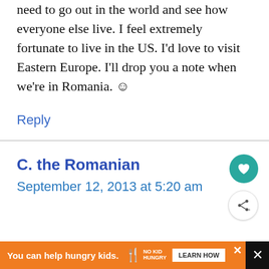need to go out in the world and see how everyone else live. I feel extremely fortunate to live in the US. I'd love to visit Eastern Europe. I'll drop you a note when we're in Romania. ☺
Reply
C. the Romanian
September 12, 2013 at 5:20 am
You can help hungry kids. NO KID HUNGRY LEARN HOW